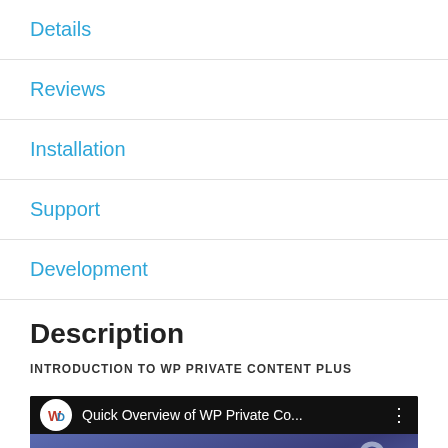Details
Reviews
Installation
Support
Development
Description
INTRODUCTION TO WP PRIVATE CONTENT PLUS
[Figure (screenshot): YouTube-style video player thumbnail showing 'Quick Overview of WP Private Co...' with WD logo, dark top bar, and purple thumbnail with large white text 'QUICK' and a lock icon silhouette]